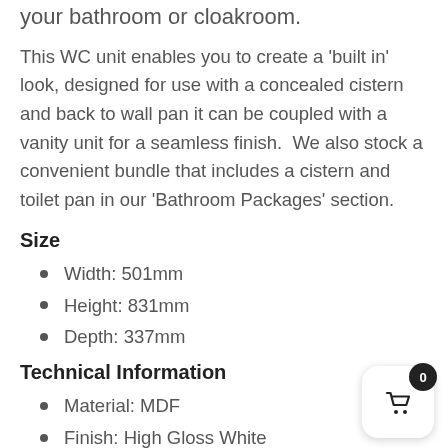your bathroom or cloakroom.
This WC unit enables you to create a 'built in' look, designed for use with a concealed cistern and back to wall pan it can be coupled with a vanity unit for a seamless finish.  We also stock a convenient bundle that includes a cistern and toilet pan in our 'Bathroom Packages' section.
Size
Width: 501mm
Height: 831mm
Depth: 337mm
Technical Information
Material: MDF
Finish: High Gloss White
Assembled: